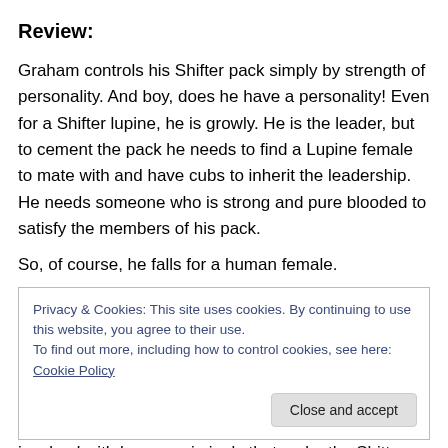Review:
Graham controls his Shifter pack simply by strength of personality. And boy, does he have a personality! Even for a Shifter lupine, he is growly. He is the leader, but to cement the pack he needs to find a Lupine female to mate with and have cubs to inherit the leadership. He needs someone who is strong and pure blooded to satisfy the members of his pack.
So, of course, he falls for a human female.
Privacy & Cookies: This site uses cookies. By continuing to use this website, you agree to their use.
To find out more, including how to control cookies, see here: Cookie Policy
involved with human criminals that make the Shitters look